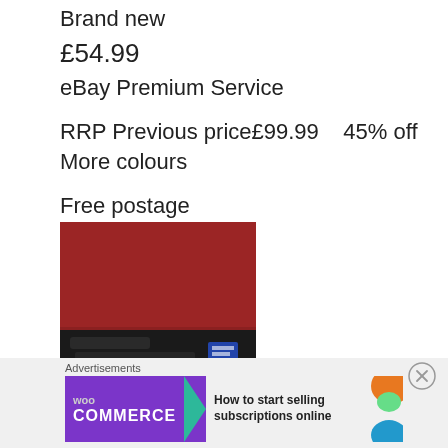Brand new
£54.99
eBay Premium Service
RRP Previous price£99.99    45% off
More colours
Free postage
127+ sold
[Figure (photo): Product photo showing a dark item (bag/jacket) against a red wall background]
Advertisements
[Figure (illustration): WooCommerce advertisement banner with purple background, green arrow, and text: How to start selling subscriptions online]